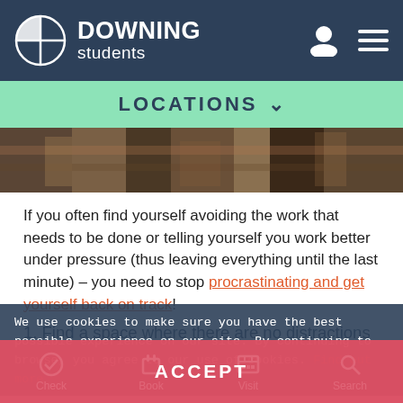DOWNING students
LOCATIONS
[Figure (photo): Partial photograph showing a person, cropped strip visible at top of content area]
If you often find yourself avoiding the work that needs to be done or telling yourself you work better under pressure (thus leaving everything until the last minute) – you need to stop procrastinating and get yourself back on track!
1. Find a space where there are no distractions
We use cookies to make sure you have the best possible experience on our site. By continuing to browse, you agree to our use of cookies. Find out more
ACCEPT